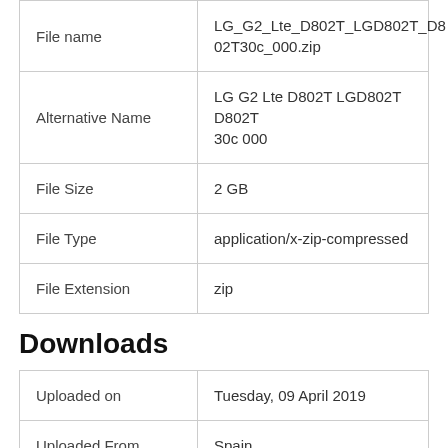|  |  |
| --- | --- |
| File name | LG_G2_Lte_D802T_LGD802T_D802T30c_000.zip |
| Alternative Name | LG G2 Lte D802T LGD802T D802T 30c 000 |
| File Size | 2 GB |
| File Type | application/x-zip-compressed |
| File Extension | zip |
Downloads
|  |  |
| --- | --- |
| Uploaded on | Tuesday, 09 April 2019 |
| Uploaded From | Spain |